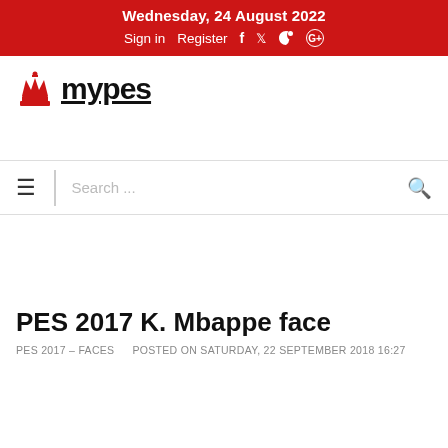Wednesday, 24 August 2022
Sign in   Register  f  ⊓  G+
[Figure (logo): MyPES website logo with red chess piece icon and bold black text 'mypes' underlined]
Search ...
PES 2017 K. Mbappe face
PES 2017 – FACES   POSTED ON SATURDAY, 22 SEPTEMBER 2018 16:27